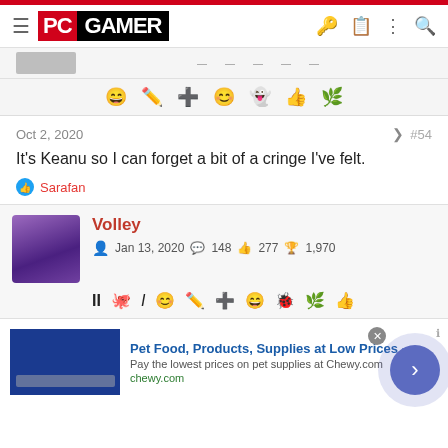PC GAMER — navigation header
[Figure (screenshot): Comment action icon row with emoji, pencil, plus, face, ghost, thumbs-up, and leaf icons]
Oct 2, 2020  #54
It's Keanu so I can forget a bit of a cringe I've felt.
👍 Sarafan
Volley — Jan 13, 2020 — 148 messages — 277 likes — 1,970 trophy points
[Figure (screenshot): Volley user action icon row]
Pet Food, Products, Supplies at Low Prices - Pay the lowest prices on pet supplies at Chewy.com — chewy.com